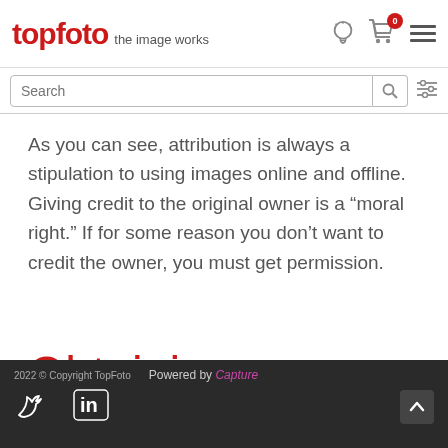topfoto the image works
As you can see, attribution is always a stipulation to using images online and offline. Giving credit to the original owner is a “moral right.” If for some reason you don’t want to credit the owner, you must get permission.
Obtaining an
2022 © Copyright TopFoto  Powered by Capture